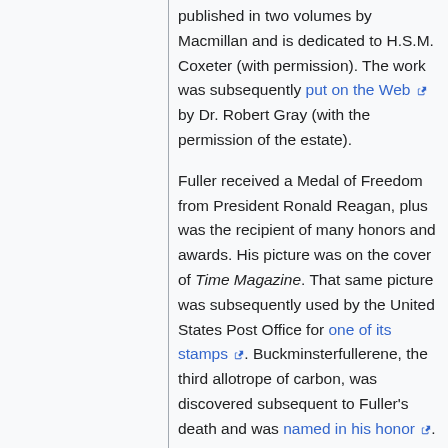published in two volumes by Macmillan and is dedicated to H.S.M. Coxeter (with permission). The work was subsequently put on the Web by Dr. Robert Gray (with the permission of the estate).
Fuller received a Medal of Freedom from President Ronald Reagan, plus was the recipient of many honors and awards. His picture was on the cover of Time Magazine. That same picture was subsequently used by the United States Post Office for one of its stamps. Buckminsterfullerene, the third allotrope of carbon, was discovered subsequent to Fuller's death and was named in his honor.
These simple fractions and whole numbers have a streamlining effect, making the brand of spatial geometry